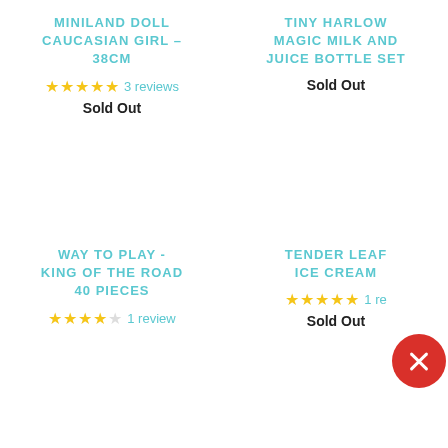MINILAND DOLL CAUCASIAN GIRL – 38CM
★★★★★ 3 reviews
Sold Out
TINY HARLOW MAGIC MILK AND JUICE BOTTLE SET
Sold Out
WAY TO PLAY - KING OF THE ROAD 40 PIECES
★★★★☆ 1 review
TENDER LEAF TOYS ICE CREAM
★★★★★ 1 review
Sold Out